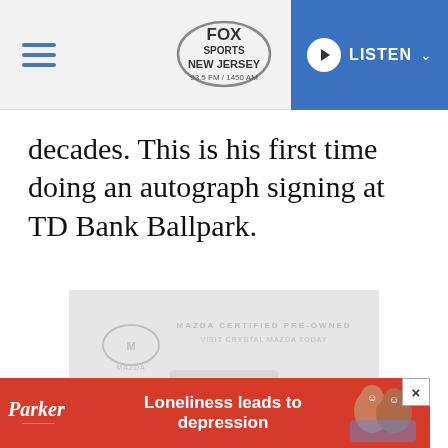FOX Sports New Jersey 93.5 FM / 1450 AM — LISTEN
decades. This is his first time doing an autograph signing at TD Bank Ballpark.
[Figure (photo): Mazda Certified Pre-Owned advertisement banner. Shows a Mazda CX-5 vehicle in light grey tones with text: MAZDA CERTIFIED PRE-OWNED, VISIT CRYSTAL MAZDA TODAY, 2019 MAZDA CX-5, SPECIAL FINANCING AVAILABLE FOR AS LOW AS $XX/MONTH, SEARCH CRYSTAL MAZDA NOW button. Faint watermark-style logo and car image.]
[Figure (photo): Parker advertisement banner at bottom. Red background. Parker logo in white italic script. Text: Loneliness leads to depression. Image of two smiling elderly women on the right.]